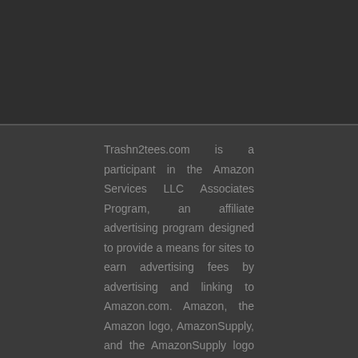Trashn2tees.com is a participant in the Amazon Services LLC Associates Program, an affiliate advertising program designed to provide a means for sites to earn advertising fees by advertising and linking to Amazon.com. Amazon, the Amazon logo, AmazonSupply, and the AmazonSupply logo are trademarks of Amazon.com, Inc. or its affiliates.
Affiliate Disclaimer   Privacy Policy GDPR
Copyright text 2021 by trashn2tees.com